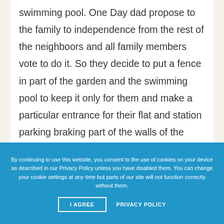swimming pool. One Day dad propose to the family to independence from the rest of the neighboors and all family members vote to do it. So they decide to put a fence in part of the garden and the swimming pool to keep it only for them and make a particular entrance for their flat and station parking braking part of the walls of the building. All of this actions were making
By continuing to use this website, you consent to the use of cookies on your device as described in our Privacy Policy unless you have disabled them. You can change your cookie settings at any time but parts of our site will not function correctly without them.
I AGREE
PRIVACY POLICY